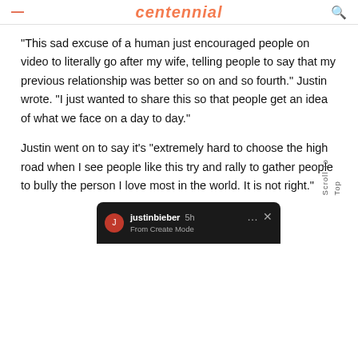centennial
“This sad excuse of a human just encouraged people on video to literally go after my wife, telling people to say that my previous relationship was better so on and so fourth.” Justin wrote. “I just wanted to share this so that people get an idea of what we face on a day to day.”
Justin went on to say it’s “extremely hard to choose the high road when I see people like this try and rally to gather people to bully the person I love most in the world. It is not right.”
[Figure (screenshot): Instagram post screenshot from justinbieber, 5h, From Create Mode, with dark background]